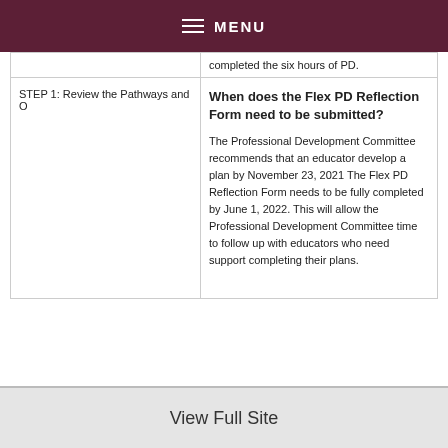MENU
|  |  |
| --- | --- |
| STEP 1: Review the Pathways and O... | completed the six hours of PD. |
| STEP 1: Review the Pathways and O... | When does the Flex PD Reflection Form need to be submitted?

The Professional Development Committee recommends that an educator develop a plan by November 23, 2021 The Flex PD Reflection Form needs to be fully completed by June 1, 2022. This will allow the Professional Development Committee time to follow up with educators who need support completing their plans. |
View Full Site